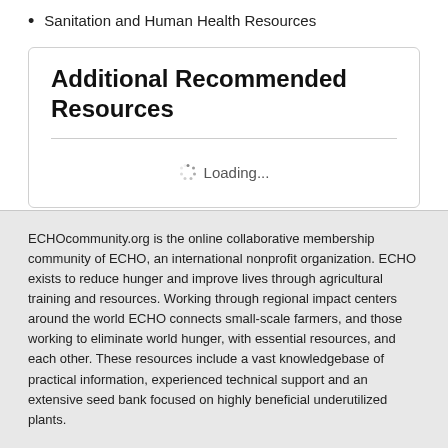Sanitation and Human Health Resources
Additional Recommended Resources
Loading...
ECHOcommunity.org is the online collaborative membership community of ECHO, an international nonprofit organization. ECHO exists to reduce hunger and improve lives through agricultural training and resources. Working through regional impact centers around the world ECHO connects small-scale farmers, and those working to eliminate world hunger, with essential resources, and each other. These resources include a vast knowledgebase of practical information, experienced technical support and an extensive seed bank focused on highly beneficial underutilized plants.